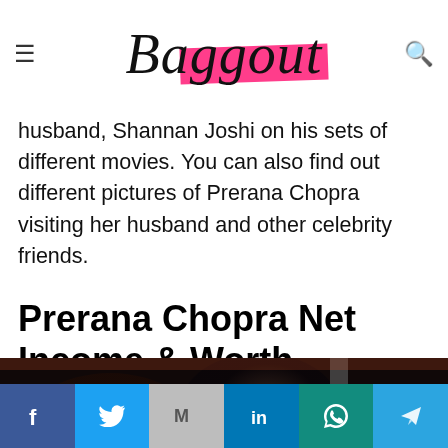Baggout (logo)
husband, Shannan Joshi on his sets of different movies. You can also find out different pictures of Prerana Chopra visiting her husband and other celebrity friends.
Prerana Chopra Net Income & Worth
[Figure (photo): Photo of a woman with a child and a man in uniform in a dark outdoor setting, with a video play button overlay in the bottom right corner.]
Social share buttons: Facebook, Twitter, Gmail, LinkedIn, WhatsApp, Telegram